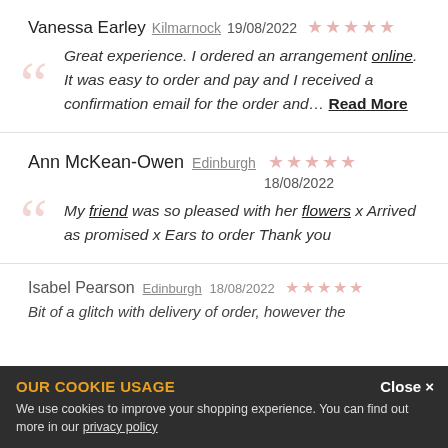Vanessa Earley  Kilmarnock  19/08/2022  ★★★★★
Great experience. I ordered an arrangement online. It was easy to order and pay and I received a confirmation email for the order and… Read More
Ann McKean-Owen  Edinburgh  18/08/2022  ★★★★★
My friend was so pleased with her flowers x Arrived as promised x Ears to order Thank you
Isabel Pearson  Edinburgh  18/08/2022
Bit of a glitch with delivery of order, however the
OUR COOKIE USAGE
We use cookies to improve your shopping experience. You can find out more in our privacy policy
Close ×